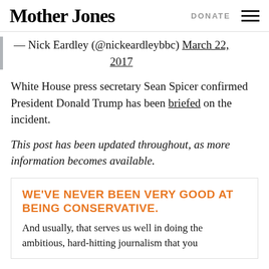Mother Jones | DONATE
— Nick Eardley (@nickeardleybbc) March 22, 2017
White House press secretary Sean Spicer confirmed President Donald Trump has been briefed on the incident.
This post has been updated throughout, as more information becomes available.
WE'VE NEVER BEEN VERY GOOD AT BEING CONSERVATIVE.
And usually, that serves us well in doing the ambitious, hard-hitting journalism that you